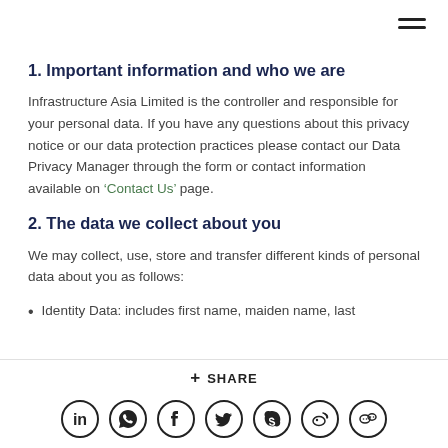1. Important information and who we are
Infrastructure Asia Limited is the controller and responsible for your personal data. If you have any questions about this privacy notice or our data protection practices please contact our Data Privacy Manager through the form or contact information available on ‘Contact Us’ page.
2. The data we collect about you
We may collect, use, store and transfer different kinds of personal data about you as follows:
Identity Data: includes first name, maiden name, last
+ SHARE [social icons: LinkedIn, WhatsApp, Facebook, Twitter, Skype, Weibo, WeChat]